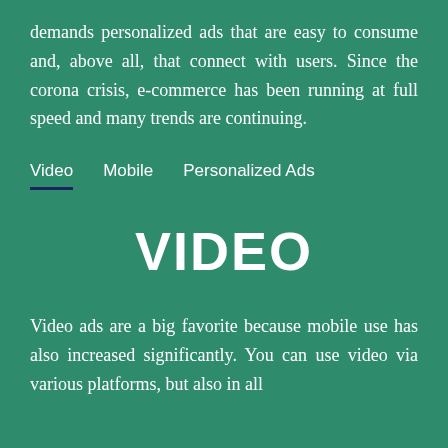demands personalized ads that are easy to consume and, above all, that connect with users. Since the corona crisis, e-commerce has been running at full speed and many trends are continuing.
Video | Mobile | Personalized Ads
VIDEO
Video ads are a big favorite because mobile use has also increased significantly. You can use video via various platforms, but also in all